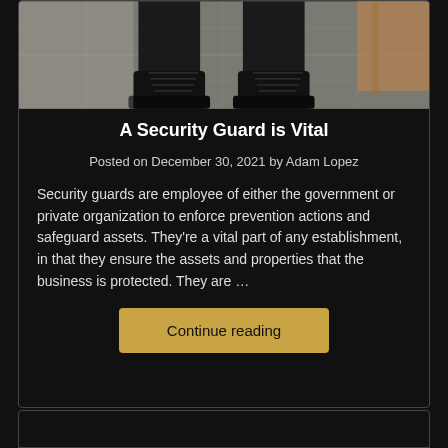[Figure (photo): Close-up photo of black boots/legs from knees down, standing on a tiled floor with a wooden surface in the background]
A Security Guard is Vital
Posted on December 30, 2021 by Adam Lopez
Security guards are employee of either the government or private organization to enforce prevention actions and safeguard assets. They're a vital part of any establishment, in that they ensure the assets and properties that the business is protected. They are …
Continue reading